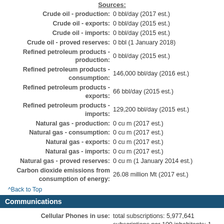Sources:
Crude oil - production: 0 bbl/day (2017 est.)
Crude oil - exports: 0 bbl/day (2015 est.)
Crude oil - imports: 0 bbl/day (2015 est.)
Crude oil - proved reserves: 0 bbl (1 January 2018)
Refined petroleum products - production: 0 bbl/day (2015 est.)
Refined petroleum products - consumption: 146,000 bbl/day (2016 est.)
Refined petroleum products - exports: 66 bbl/day (2015 est.)
Refined petroleum products - imports: 129,200 bbl/day (2015 est.)
Natural gas - production: 0 cu m (2017 est.)
Natural gas - consumption: 0 cu m (2017 est.)
Natural gas - exports: 0 cu m (2017 est.)
Natural gas - imports: 0 cu m (2017 est.)
Natural gas - proved reserves: 0 cu m (1 January 2014 est.)
Carbon dioxide emissions from consumption of energy: 26.08 million Mt (2017 est.)
^Back to Top
Communications
Cellular Phones in use: total subscriptions: 5,977,641 subscriptions per 100 inhabitants: 1
Telephone system: general assessment: domestic and